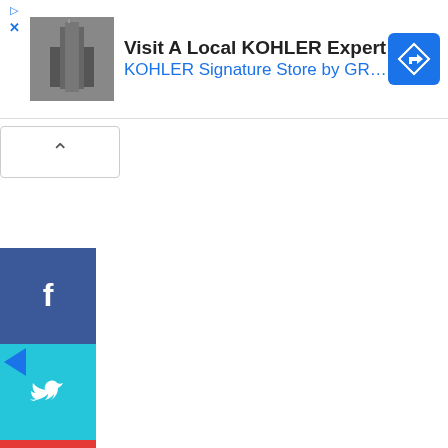[Figure (screenshot): Advertisement banner showing 'Visit A Local KOHLER Expert – KOHLER Signature Store by GR…' with a building thumbnail image on the left and a blue navigation/direction icon on the right.]
[Figure (screenshot): Social media sharing sidebar with buttons for Facebook (blue), Twitter (teal), Google+ (red), Pinterest (yellow/orange), and YouTube (red).]